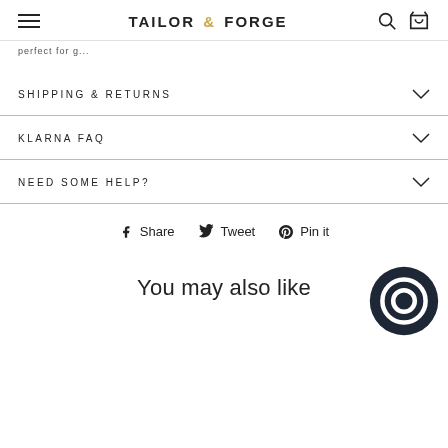TAILOR & FORGE
SHIPPING & RETURNS
KLARNA FAQ
NEED SOME HELP?
Share  Tweet  Pin it
You may also like